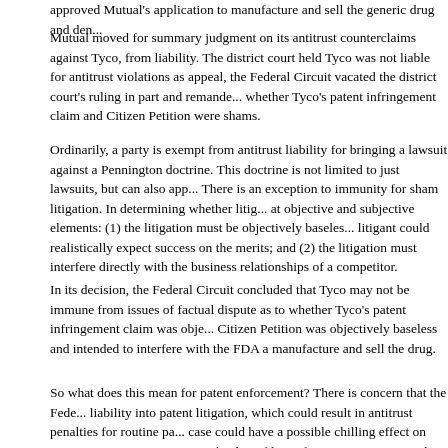approved Mutual's application to manufacture and sell the generic drug and den...
Mutual moved for summary judgment on its antitrust counterclaims against Tyco, from liability. The district court held Tyco was not liable for antitrust violations as appeal, the Federal Circuit vacated the district court's ruling in part and remande... whether Tyco's patent infringement claim and Citizen Petition were shams.
Ordinarily, a party is exempt from antitrust liability for bringing a lawsuit against a Pennington doctrine. This doctrine is not limited to just lawsuits, but can also app... There is an exception to immunity for sham litigation. In determining whether litig... at objective and subjective elements: (1) the litigation must be objectively baseles... litigant could realistically expect success on the merits; and (2) the litigation must interfere directly with the business relationships of a competitor.
In its decision, the Federal Circuit concluded that Tyco may not be immune from issues of factual dispute as to whether Tyco's patent infringement claim was obje... Citizen Petition was objectively baseless and intended to interfere with the FDA a manufacture and sell the drug.
So what does this mean for patent enforcement? There is concern that the Fede... liability into patent litigation, which could result in antitrust penalties for routine pa... case could have a possible chilling effect on patentees' communications with adm... filing of a Citizen Petition with the FDA. However, because the Noerr-Pennington patentees are still protected unless the party alleging antitrust violations can pr...